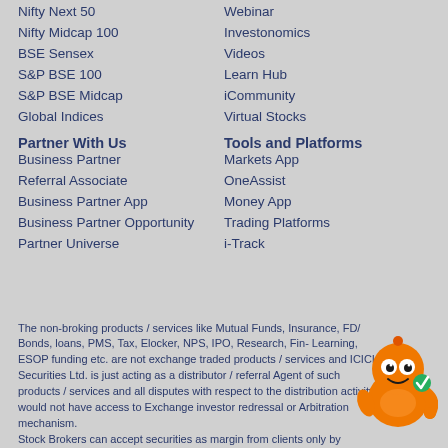Nifty Next 50
Webinar
Nifty Midcap 100
Investonomics
BSE Sensex
Videos
S&P BSE 100
Learn Hub
S&P BSE Midcap
iCommunity
Global Indices
Virtual Stocks
Partner With Us
Tools and Platforms
Business Partner
Markets App
Referral Associate
OneAssist
Business Partner App
Money App
Business Partner Opportunity
Trading Platforms
Partner Universe
i-Track
The non-broking products / services like Mutual Funds, Insurance, FD/ Bonds, loans, PMS, Tax, Elocker, NPS, IPO, Research, Fin- Learning, ESOP funding etc. are not exchange traded products / services and ICICI Securities Ltd. is just acting as a distributor / referral Agent of such products / services and all disputes with respect to the distribution activity would not have access to Exchange investor redressal or Arbitration mechanism. Stock Brokers can accept securities as margin from clients only by